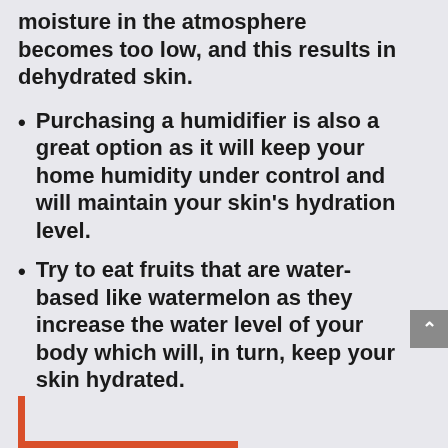moisture in the atmosphere becomes too low, and this results in dehydrated skin.
Purchasing a humidifier is also a great option as it will keep your home humidity under control and will maintain your skin's hydration level.
Try to eat fruits that are water-based like watermelon as they increase the water level of your body which will, in turn, keep your skin hydrated.